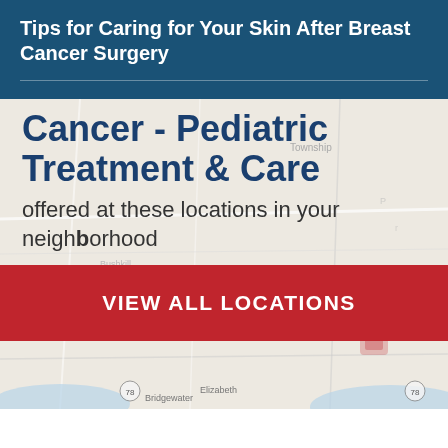Tips for Caring for Your Skin After Breast Cancer Surgery
Cancer - Pediatric Treatment & Care
offered at these locations in your neighborhood
[Figure (map): Geographic map showing locations in a neighborhood region]
VIEW ALL LOCATIONS